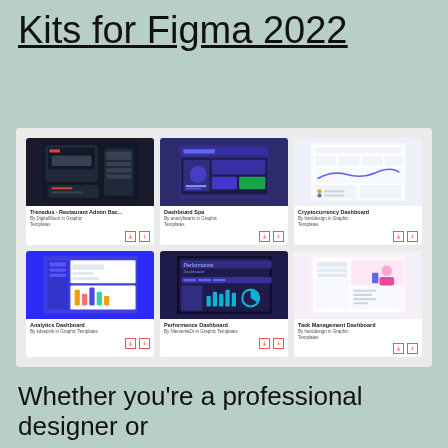Kits for Figma 2022
[Figure (screenshot): Grid of 6 Figma UI kit cards: Trenadus Restaurant Admin (dark), Dashboard Spa (purple), Cryptocurrency Dashboard (light), Analytics Dashboard (blue), Performance Dashboard (dark navy), Task Management Dashboard (light pink). Each card shows a preview screenshot and has title, author, and icon buttons.]
Whether you’re a professional designer or